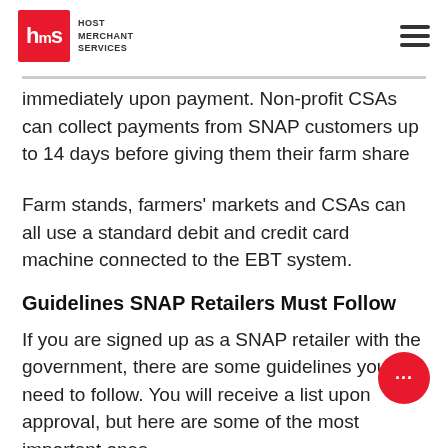Host Merchant Services
immediately upon payment. Non-profit CSAs can collect payments from SNAP customers up to 14 days before giving them their farm share products.
Farm stands, farmers' markets and CSAs can all use a standard debit and credit card machine connected to the EBT system.
Guidelines SNAP Retailers Must Follow
If you are signed up as a SNAP retailer with the government, there are some guidelines you will need to follow. You will receive a list upon approval, but here are some of the most important ones.